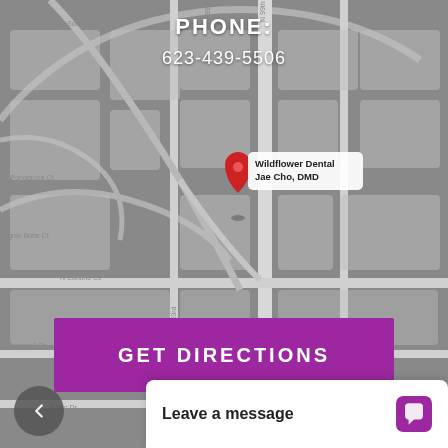[Figure (map): Google Maps screenshot showing street map of a neighborhood in Arizona with a red map pin marker labeled 'Wildflower Dental Jae Cho, DMD'. Streets visible include N 99th Ave, N Concho Cir, W Concho Cir, Wooddale Village Retirement, and Rehabilitation Center. The map has a dark gray overlay.]
PHONE:
623-439-5506
GET DIRECTIONS
Leave a message